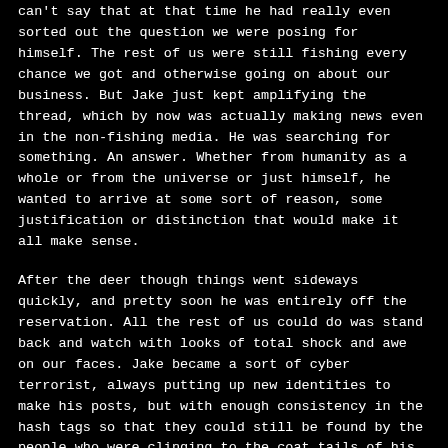can't say that at that time he had really even sorted out the question we were posing for himself. The rest of us were still fishing every chance we got and otherwise going on about our business. But Jake just kept amplifying the thread, which by now was actually making news even in the non-fishing media. He was searching for something. An answer. Whether from humanity as a whole or from the universe or just himself, he wanted to arrive at some sort of reason, some justification or distinction that would make it all make sense.
After the deer though things went sideways quickly, and pretty soon he was entirely off the reservation. All the rest of us could do was stand back and watch with looks of total shock and awe on our faces. Jake became a sort of cyber terrorist, always putting up new identities to make his posts, but with enough consistency in the hash tags so that they could still be found by the people who were clinging to the coat tails of his madness. And there were a lot of them. I couldn't take it anymore and had a family to worry about which Jake